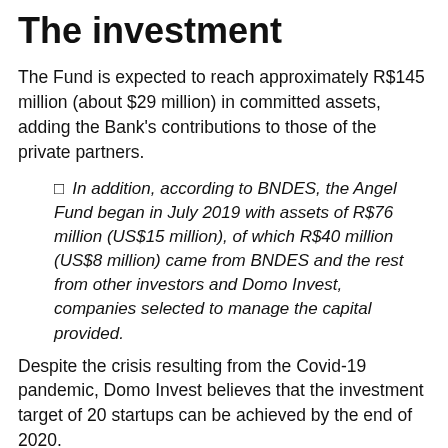The investment
The Fund is expected to reach approximately R$145 million (about $29 million) in committed assets, adding the Bank's contributions to those of the private partners.
In addition, according to BNDES, the Angel Fund began in July 2019 with assets of R$76 million (US$15 million), of which R$40 million (US$8 million) came from BNDES and the rest from other investors and Domo Invest, companies selected to manage the capital provided.
Despite the crisis resulting from the Covid-19 pandemic, Domo Invest believes that the investment target of 20 startups can be achieved by the end of 2020.
In the first months of operation, managers and analysts spoke with more than 600 founding partners of start-up companies and selected 14 of them so far, four of which are in the portfolio, with a signed investment commitment.